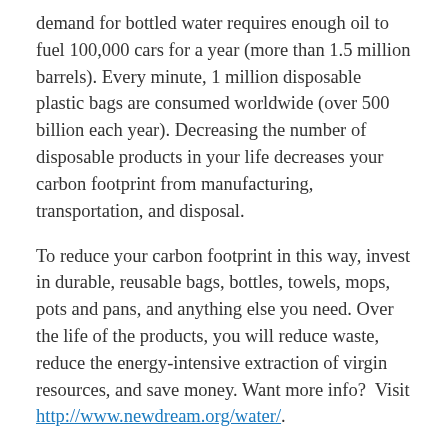demand for bottled water requires enough oil to fuel 100,000 cars for a year (more than 1.5 million barrels). Every minute, 1 million disposable plastic bags are consumed worldwide (over 500 billion each year). Decreasing the number of disposable products in your life decreases your carbon footprint from manufacturing, transportation, and disposal.
To reduce your carbon footprint in this way, invest in durable, reusable bags, bottles, towels, mops, pots and pans, and anything else you need. Over the life of the products, you will reduce waste, reduce the energy-intensive extraction of virgin resources, and save money. Want more info? Visit http://www.newdream.org/water/.
Now that you understand this important step, what is your best opportunity to decrease your impact?